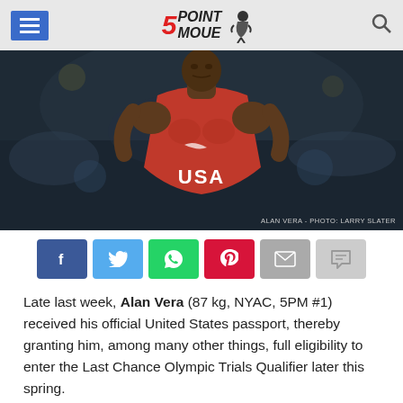5POINT MOVE
[Figure (photo): Alan Vera, a muscular wrestler wearing a red USA singlet, posed against a dark blurred arena background. Photo credit: ALAN VERA - PHOTO: LARRY SLATER]
ALAN VERA - PHOTO: LARRY SLATER
[Figure (infographic): Social share buttons: Facebook (blue), Twitter (light blue), WhatsApp (green), Pinterest (red), Email (gray), Comment (light gray)]
Late last week, Alan Vera (87 kg, NYAC, 5PM #1) received his official United States passport, thereby granting him, among many other things, full eligibility to enter the Last Chance Olympic Trials Qualifier later this spring.
It had been a painstaking process lasting over four years.